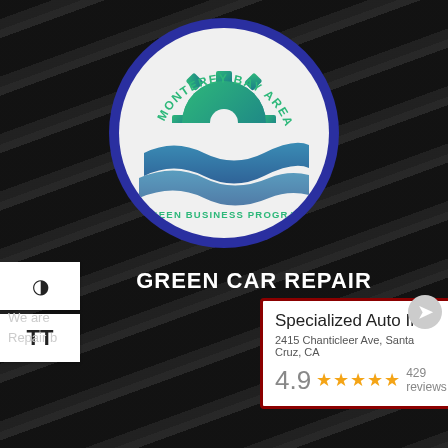[Figure (logo): Monterey Bay Area Green Business Program circular logo with gear and wave design on dark background]
GREEN CAR REPAIR
We are ... Repair b...
[Figure (screenshot): Google Business card for Specialized Auto Inc. at 2415 Chanticleer Ave, Santa Cruz, CA with 4.9 rating and 429 reviews]